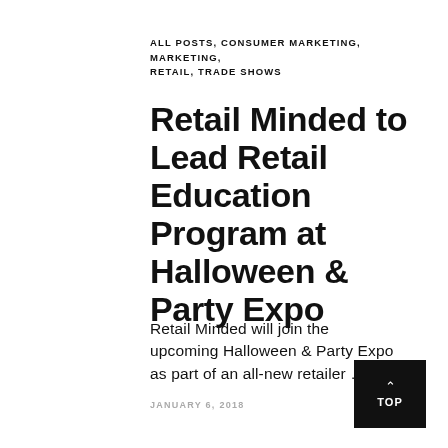ALL POSTS, CONSUMER MARKETING, MARKETING, RETAIL, TRADE SHOWS
Retail Minded to Lead Retail Education Program at Halloween & Party Expo
Retail Minded will join the upcoming Halloween & Party Expo as part of an all-new retailer ...
JANUARY 6, 2018